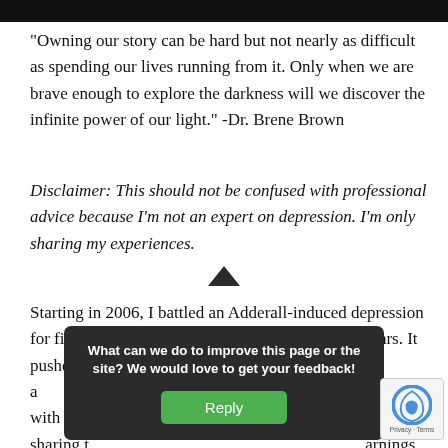“Owning our story can be hard but not nearly as difficult as spending our lives running from it. Only when we are brave enough to explore the darkness will we discover the infinite power of our light.” -Dr. Brene Brown
Disclaimer: This should not be confused with professional advice because I’m not an expert on depression. I’m only sharing my experiences.
Starting in 2006, I battled an Adderall-induced depression for five years during my middle and high school years. It pushed me to a low that I didn’t know existed a… over from. Un… with peo… sharing t… arnings
[Figure (other): Dark overlay popup with text 'What can we do to improve this page or the site? We would love to get your feedback!' and a green Reply button. A reCAPTCHA badge appears in the bottom-right corner.]